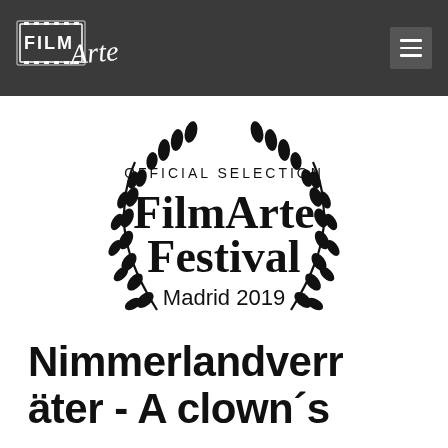FilmArte (logo) | navigation hamburger menu
[Figure (logo): Official Selection FilmArte Festival Madrid 2019 laurel wreath badge, black on white]
Nimmerlandverr äter - A clown´s